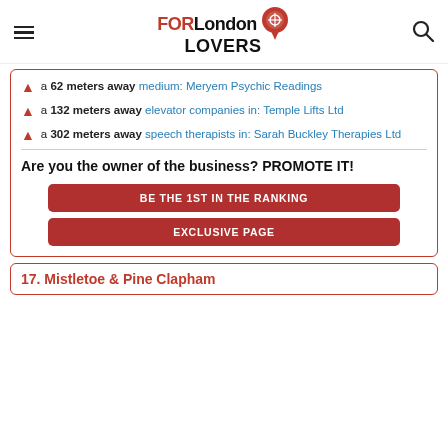FORLondon LOVERS
a 62 meters away medium: Meryem Psychic Readings
a 132 meters away elevator companies in: Temple Lifts Ltd
a 302 meters away speech therapists in: Sarah Buckley Therapies Ltd
Are you the owner of the business? PROMOTE IT!
BE THE 1ST IN THE RANKING
EXCLUSIVE PAGE
17. Mistletoe & Pine Clapham